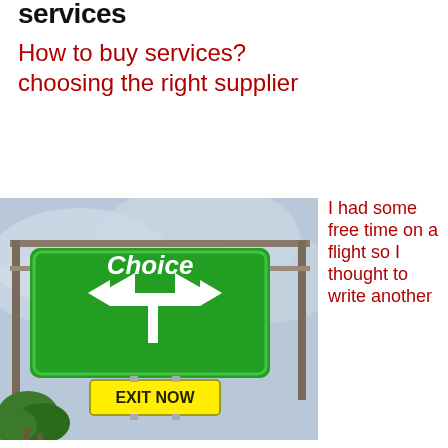services
How to buy services? choosing the right supplier
[Figure (photo): A green highway road sign reading 'Choice' with a forked arrow, and a yellow sign below reading 'EXIT NOW', mounted on a metal gantry against a cloudy sky with trees visible at bottom left.]
I had some free time on a flight so I thought to write another